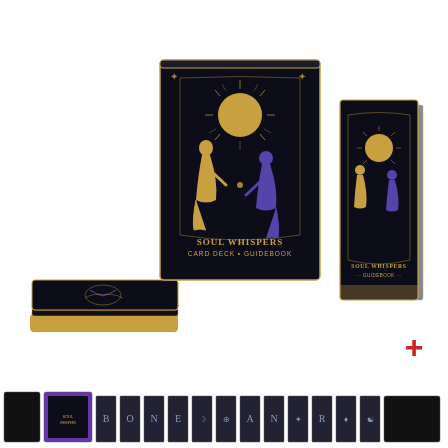[Figure (photo): Product photo showing Soul Whispers Card Deck + Guidebook set. Three items visible: a stack of cards with black and gold cover (left), a black and gold box with two kneeling figures under a sun and text 'SOUL WHISPERS CARD DECK • GUIDEBOOK' (center), and a black and gold guidebook with same imagery and text 'SOUL WHISPERS GUIDEBOOK' (right). A red plus sign appears to the right. Below are small thumbnail images of various product views on a white background.]